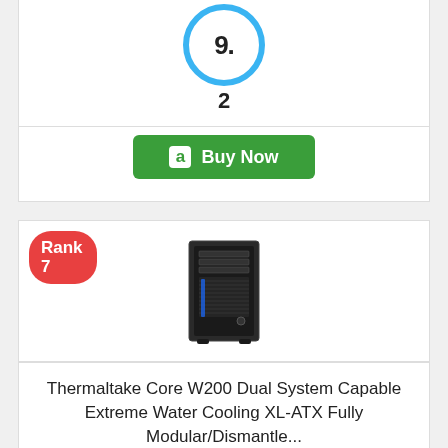[Figure (other): Partial score circle showing '9.' at top with '2' below, blue ring, top of page]
[Figure (other): Green Amazon 'Buy Now' button]
[Figure (other): Red 'Rank 7' badge overlaid on product listing card, with PC case image (Thermaltake Core W200)]
Thermaltake Core W200 Dual System Capable Extreme Water Cooling XL-ATX Fully Modular/Dismantle...
Editorial Score:
[Figure (other): Blue ring score circle showing '9.' with '7' below]
[Figure (other): Green Amazon 'Buy Now' button (partially visible at bottom)]